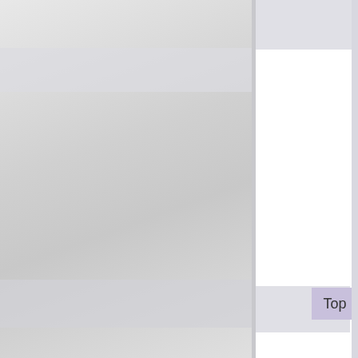[Figure (photo): Large light grey photographic or illustrated background image occupying the left two-thirds of the page, with subtle horizontal banding.]
日本分析 (My Analysis of Japan).
At the bottom of the dilemma to survive
Frankly, I think